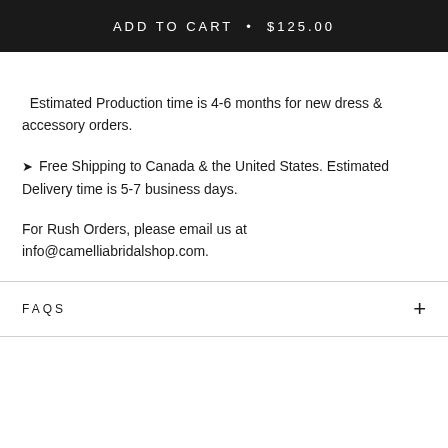ADD TO CART • $125.00
Estimated Production time is 4-6 months for new dress & accessory orders.
✈ Free Shipping to Canada & the United States. Estimated Delivery time is 5-7 business days.
For Rush Orders, please email us at info@camelliabridalshop.com.
FAQS